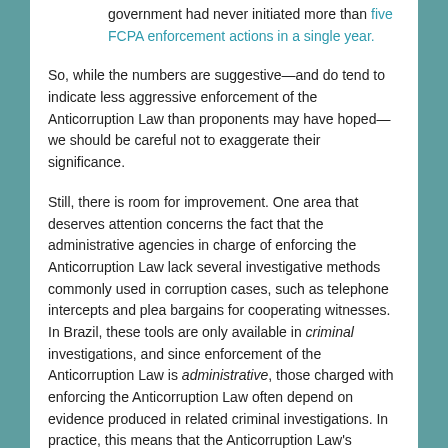government had never initiated more than five FCPA enforcement actions in a single year.
So, while the numbers are suggestive—and do tend to indicate less aggressive enforcement of the Anticorruption Law than proponents may have hoped—we should be careful not to exaggerate their significance.
Still, there is room for improvement. One area that deserves attention concerns the fact that the administrative agencies in charge of enforcing the Anticorruption Law lack several investigative methods commonly used in corruption cases, such as telephone intercepts and plea bargains for cooperating witnesses. In Brazil, these tools are only available in criminal investigations, and since enforcement of the Anticorruption Law is administrative, those charged with enforcing the Anticorruption Law often depend on evidence produced in related criminal investigations. In practice, this means that the Anticorruption Law's effectiveness depends on different enforcement agencies working together, or at least exchanging information.